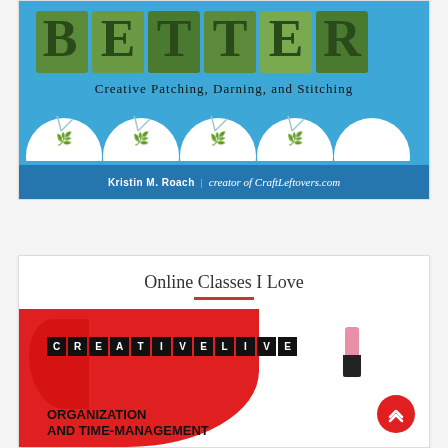[Figure (illustration): Book cover showing 'BETTER: Creative Patching, Darning, and Stitching' by Kristin M. Roach, creator of CraftLeftovers.com. Blue fabric background with mosaic/leaf-textured letters at top, white scalloped circles with botanical sprigs, and author name on bottom banner.]
Online Classes I Love
[Figure (screenshot): CreativeLive banner advertisement showing the CreativeLive logo in white-on-black letter blocks, a red background with abstract shapes, lipstick icon, and text 'ORGANIZATION AND TIME-MANAGEMENT' with a red circular scroll-up button.]